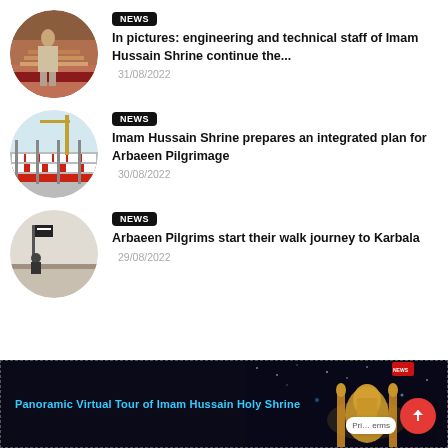[Figure (photo): Circular thumbnail of a person walking up stairs at a shrine, brick and carpet visible]
NEWS
In pictures: engineering and technical staff of Imam Hussain Shrine continue the...
31/08/2022
[Figure (photo): Circular thumbnail of red and white barriers/barricades outside a shrine]
NEWS
Imam Hussain Shrine prepares an integrated plan for Arbaeen Pilgrimage
30/08/2022
[Figure (photo): Circular thumbnail of a person with a flag standing on a wall]
NEWS
Arbaeen Pilgrims start their walk journey to Karbala
29/08/2022
[Figure (photo): Dark banner showing Imam Hussain Holy Shrine at night with golden domes lit up]
Panoramic Virtual Tour of Imam Hussain Holy Shrine